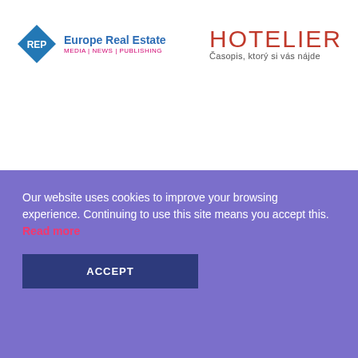[Figure (logo): Europe Real Estate REP diamond logo with text 'Europe Real Estate MEDIA | NEWS | PUBLISHING']
[Figure (logo): HOTELIER logo in red with subtitle 'Časopis, ktorý si vás nájde']
Founding Patron
[Figure (logo): Partial logo with orange triangle and text beginning with 'Howarth HTI' partially visible]
Our website uses cookies to improve your browsing experience. Continuing to use this site means you accept this. Read more
ACCEPT